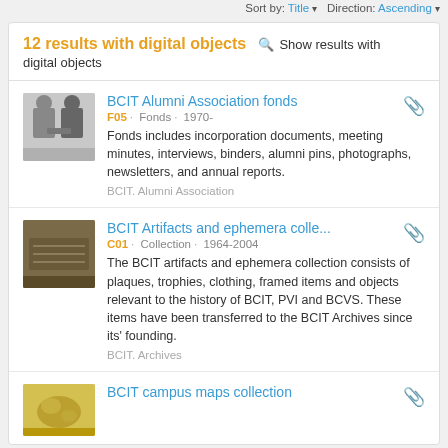Sort by: Title ▾  Direction: Ascending ▾
12 results with digital objects  🔍 Show results with digital objects
BCIT Alumni Association fonds
F05 · Fonds · 1970-
Fonds includes incorporation documents, meeting minutes, interviews, binders, alumni pins, photographs, newsletters, and annual reports.
BCIT. Alumni Association
BCIT Artifacts and ephemera colle...
C01 · Collection · 1964-2004
The BCIT artifacts and ephemera collection consists of plaques, trophies, clothing, framed items and objects relevant to the history of BCIT, PVI and BCVS. These items have been transferred to the BCIT Archives since its' founding.
BCIT. Archives
BCIT campus maps collection